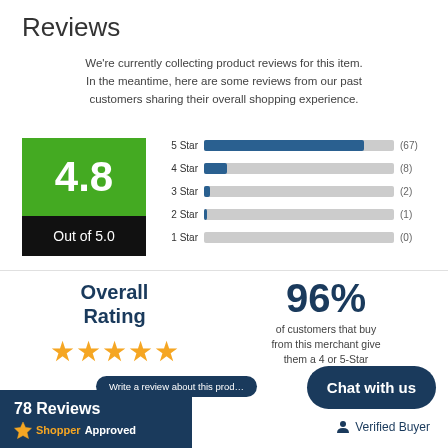Reviews
We're currently collecting product reviews for this item. In the meantime, here are some reviews from our past customers sharing their overall shopping experience.
[Figure (bar-chart): Star Rating Distribution]
4.8
Out of 5.0
Overall Rating
96%
of customers that buy from this merchant give them a 4 or 5-Star rating.
Write a review about this product
Chat with us
78 Reviews
ShopperApproved
Verified Buyer